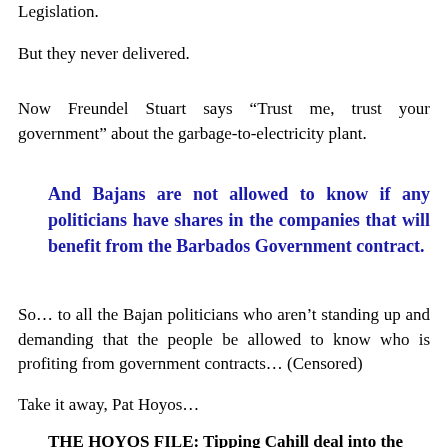Legislation.
But they never delivered.
Now Freundel Stuart says “Trust me, trust your government” about the garbage-to-electricity plant.
And Bajans are not allowed to know if any politicians have shares in the companies that will benefit from the Barbados Government contract.
So… to all the Bajan politicians who aren’t standing up and demanding that the people be allowed to know who is profiting from government contracts… (Censored)
Take it away, Pat Hoyos…
THE HOYOS FILE: Tipping Cahill deal into the